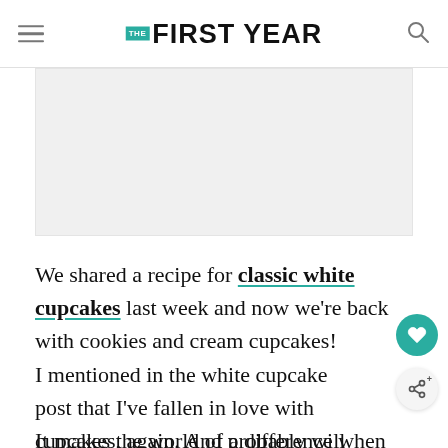THE FIRST YEAR
[Figure (photo): Large rectangular image placeholder area, light gray background]
We shared a recipe for classic white cupcakes last week and now we're back with cookies and cream cupcakes!
I mentioned in the white cupcake post that I've fallen in love with cupcakes, again. And probably will again, and again and again.
It makes the world of a difference when you